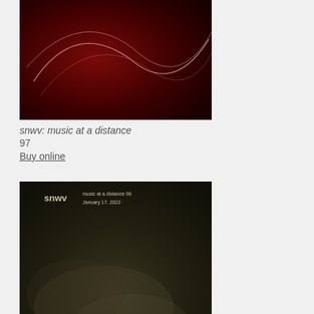[Figure (photo): Album cover for snwv: music at a distance 97 — dark red/maroon abstract swirling light streaks on dark background]
snwv: music at a distance 97
Buy online
[Figure (photo): Album cover for snwv: music at a distance 96 — dark olive/grey abstract smoky texture with text 'snwv music at a distance 96 January 17, 2022']
snwv: music at a distance 96
Buy online
[Figure (photo): Album cover for snwv: music at a distance 95 — dark red/crimson abstract streaking light lines with text 'snwv music at a distance 95 January 10, 2022']
snwv: music at a distance